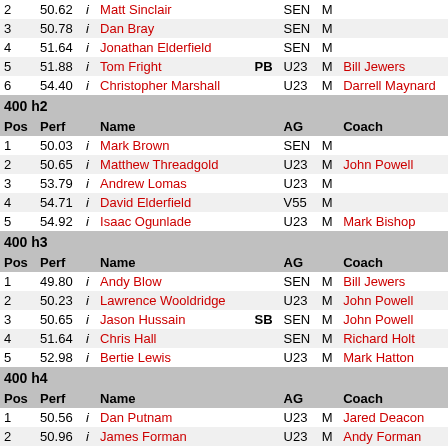| Pos | Perf |  | Name |  | AG |  | Coach |
| --- | --- | --- | --- | --- | --- | --- | --- |
| 2 | 50.62 | i | Matt Sinclair |  | SEN | M |  |
| 3 | 50.78 | i | Dan Bray |  | SEN | M |  |
| 4 | 51.64 | i | Jonathan Elderfield |  | SEN | M |  |
| 5 | 51.88 | i | Tom Fright | PB | U23 | M | Bill Jewers |
| 6 | 54.40 | i | Christopher Marshall |  | U23 | M | Darrell Maynard |
| 400 h2 |  |  |  |  |  |  |  |
| Pos | Perf |  | Name |  | AG |  | Coach |
| 1 | 50.03 | i | Mark Brown |  | SEN | M |  |
| 2 | 50.65 | i | Matthew Threadgold |  | U23 | M | John Powell |
| 3 | 53.79 | i | Andrew Lomas |  | U23 | M |  |
| 4 | 54.71 | i | David Elderfield |  | V55 | M |  |
| 5 | 54.92 | i | Isaac Ogunlade |  | U23 | M | Mark Bishop |
| 400 h3 |  |  |  |  |  |  |  |
| Pos | Perf |  | Name |  | AG |  | Coach |
| 1 | 49.80 | i | Andy Blow |  | SEN | M | Bill Jewers |
| 2 | 50.23 | i | Lawrence Wooldridge |  | U23 | M | John Powell |
| 3 | 50.65 | i | Jason Hussain | SB | SEN | M | John Powell |
| 4 | 51.64 | i | Chris Hall |  | SEN | M | Richard Holt |
| 5 | 52.98 | i | Bertie Lewis |  | U23 | M | Mark Hatton |
| 400 h4 |  |  |  |  |  |  |  |
| Pos | Perf |  | Name |  | AG |  | Coach |
| 1 | 50.56 | i | Dan Putnam |  | U23 | M | Jared Deacon |
| 2 | 50.96 | i | James Forman |  | U23 | M | Andy Forman |